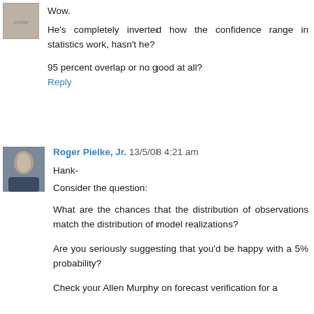[Figure (photo): Small avatar image of a user, appears to be a grainy photo]
Wow.
He's completely inverted how the confidence range in statistics work, hasn't he?
95 percent overlap or no good at all?
Reply
[Figure (photo): Avatar photo of Roger Pielke Jr., a man in a suit]
Roger Pielke, Jr.  13/5/08 4:21 am
Hank-
Consider the question:
What are the chances that the distribution of observations match the distribution of model realizations?
Are you seriously suggesting that you'd be happy with a 5% probability?
Check your Allen Murphy on forecast verification for a